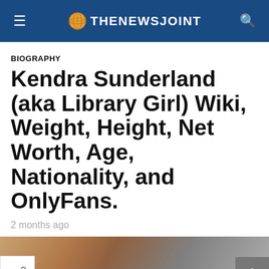THENEWSJOINT
BIOGRAPHY
Kendra Sunderland (aka Library Girl) Wiki, Weight, Height, Net Worth, Age, Nationality, and OnlyFans.
2 months ago
[Figure (photo): Partial photo of Kendra Sunderland at the bottom of the page]